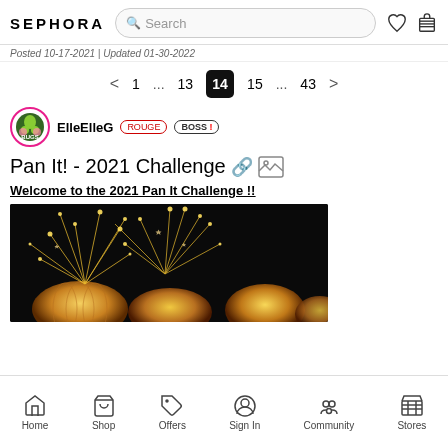SEPHORA  [Search bar]  [heart icon] [bag icon]
Posted 10-17-2021 | Updated 01-30-2022
< 1 ... 13 14 15 ... 43 >
ElleElleG  ROUGE  BOSS !
Pan It! - 2021 Challenge 🔗 🖼
Welcome to the 2021 Pan It Challenge !!
[Figure (photo): Fireworks sparklers over golden glowing spheres/pumpkins on a black background]
Home  Shop  Offers  Sign In  Community  Stores